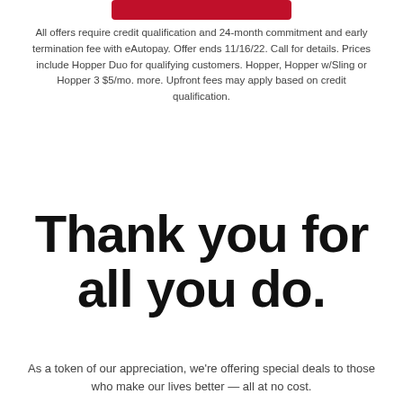[Figure (other): Red rounded rectangle button (partially cropped at top of page)]
All offers require credit qualification and 24-month commitment and early termination fee with eAutopay. Offer ends 11/16/22. Call for details. Prices include Hopper Duo for qualifying customers. Hopper, Hopper w/Sling or Hopper 3 $5/mo. more. Upfront fees may apply based on credit qualification.
Thank you for all you do.
As a token of our appreciation, we're offering special deals to those who make our lives better — all at no cost.